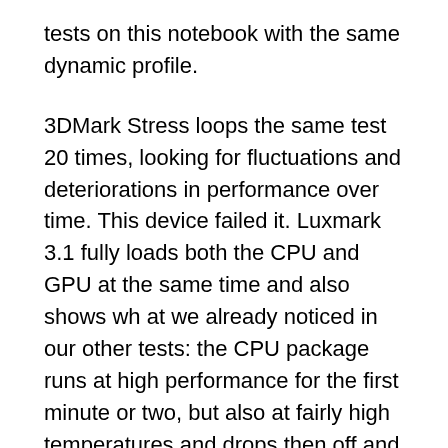tests on this notebook with the same dynamic profile.
3DMark Stress loops the same test 20 times, looking for fluctuations and deteriorations in performance over time. This device failed it. Luxmark 3.1 fully loads both the CPU and GPU at the same time and also shows wh at we already noticed in our other tests: the CPU package runs at high performance for the first minute or two, but also at fairly high temperatures and drops then off and stabilize at around 13-15 W at limited CPU frequencies, but the GPU is constantly running at its intended maximum speed of 1.6 GHz.